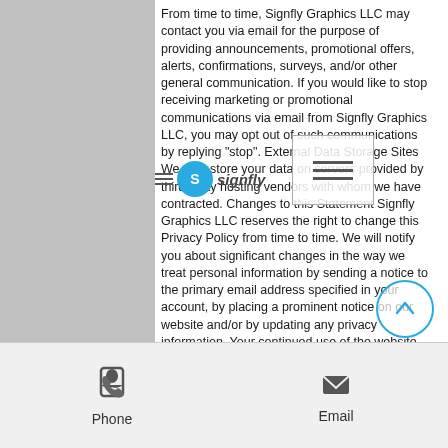From time to time, Signfly Graphics LLC may contact you via email for the purpose of providing announcements, promotional offers, alerts, confirmations, surveys, and/or other general communication. If you would like to stop receiving marketing or promotional communications via email from Signfly Graphics LLC, you may opt out of such communications by replying "stop". External Data Storage Sites We may store your data on servers provided by third party hosting vendors with whom we have contracted. Changes to this Statement Signfly Graphics LLC reserves the right to change this Privacy Policy from time to time. We will notify you about significant changes in the way we treat personal information by sending a notice to the primary email address specified in your account, by placing a prominent notice on our website and/or by updating any privacy information. Your continued use of the website and/or Services available after such modifications will constitute your: (a) acknowledgment of
[Figure (logo): Signfly Graphics LLC logo with circular blue icon and text]
[Figure (other): Hamburger menu icon overlay box]
[Figure (other): Scroll to top circular button with upward chevron]
[Figure (other): Bottom navigation bar with Phone and Email buttons]